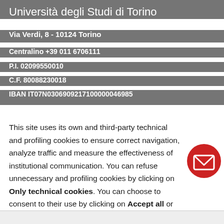Università degli Studi di Torino
Via Verdi, 8 - 10124 Torino
Centralino +39 011 6706111
P.I. 02099550010
C.F. 80088230018
IBAN IT07N0306909217100000046985
This site uses its own and third-party technical and profiling cookies to ensure correct navigation, analyze traffic and measure the effectiveness of institutional communication. You can refuse unnecessary and profiling cookies by clicking on Only technical cookies. You can choose to consent to their use by clicking on Accept all or you can customize your choices by clicking on Customize. For more information read our Privacy and cookie policy